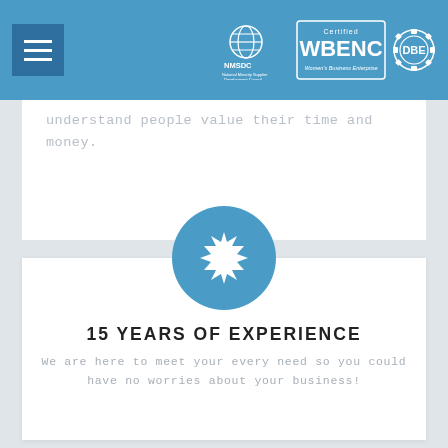NMSDC | Certified WBENC Women's Business Enterprise | DBE
understand people value their time and money.
[Figure (illustration): Blue circle with white sunburst/seal icon representing certification or award badge]
15 YEARS OF EXPERIENCE
We are here to meet your every need so you could have no worries about your business!